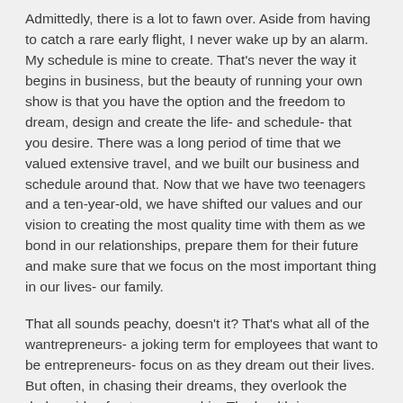Admittedly, there is a lot to fawn over. Aside from having to catch a rare early flight, I never wake up by an alarm. My schedule is mine to create. That's never the way it begins in business, but the beauty of running your own show is that you have the option and the freedom to dream, design and create the life- and schedule- that you desire. There was a long period of time that we valued extensive travel, and we built our business and schedule around that. Now that we have two teenagers and a ten-year-old, we have shifted our values and our vision to creating the most quality time with them as we bond in our relationships, prepare them for their future and make sure that we focus on the most important thing in our lives- our family.
That all sounds peachy, doesn't it? That's what all of the wantrepreneurs- a joking term for employees that want to be entrepreneurs- focus on as they dream out their lives. But often, in chasing their dreams, they overlook the darker side of entrepreneurship. The health issues.
Don't let any of the images of these business owners on their yachts and chilling at the beach fool you. The world of entrepreneurship is closely tied to some potentially damaging